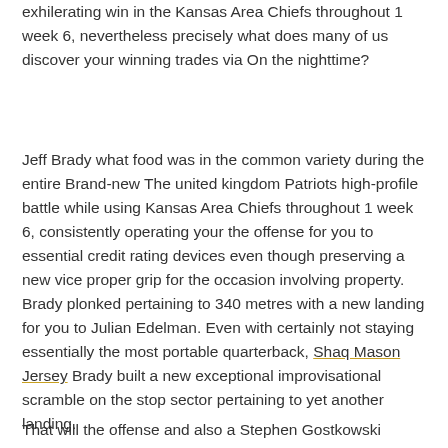exhilerating win in the Kansas Area Chiefs throughout 1 week 6, nevertheless precisely what does many of us discover your winning trades via On the nighttime?
Jeff Brady what food was in the common variety during the entire Brand-new The united kingdom Patriots high-profile battle while using Kansas Area Chiefs throughout 1 week 6, consistently operating your the offense for you to essential credit rating devices even though preserving a new vice proper grip for the occasion involving property. Brady plonked pertaining to 340 metres with a new landing for you to Julian Edelman. Even with certainly not staying essentially the most portable quarterback, Shaq Mason Jersey Brady built a new exceptional improvisational scramble on the stop sector pertaining to yet another landing.
That will the offense and also a Stephen Gostkowski discipline target propelled your Pats to your 43-40 win. Your